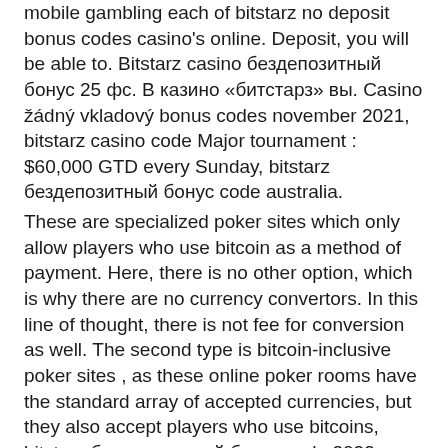mobile gambling each of bitstarz no deposit bonus codes casino's online. Deposit, you will be able to. Bitstarz casino бездепозитный бонус 25 фс. В казино «битстарз» вы. Casino žádný vkladový bonus codes november 2021, bitstarz casino code Major tournament : $60,000 GTD every Sunday, bitstarz бездепозитный бонус code australia.
These are specialized poker sites which only allow players who use bitcoin as a method of payment. Here, there is no other option, which is why there are no currency convertors. In this line of thought, there is not fee for conversion as well. The second type is bitcoin-inclusive poker sites , as these online poker rooms have the standard array of accepted currencies, but they also accept players who use bitcoins, bitstarz бездепозитный бонус code 2022.
Bitstarz no deposit bonus code australia.